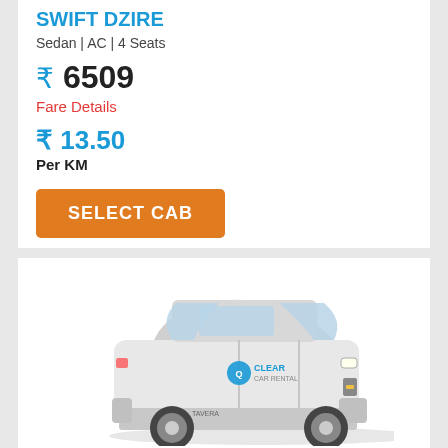SWIFT DZIRE
Sedan | AC | 4 Seats
₹ 6509
Fare Details
₹ 13.50
Per KM
SELECT CAB
[Figure (photo): White Chevrolet Tavera SUV with Clear Car Rental branding on the side]
CHEVROLET TAVERA
SUV | AC | 6 Seats